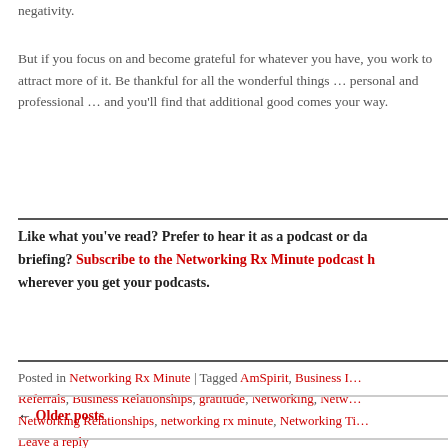negativity.
But if you focus on and become grateful for whatever you have, you work to attract more of it. Be thankful for all the wonderful things … personal and professional … and you'll find that additional good comes your way.
Like what you've read? Prefer to hear it as a podcast or daily briefing? Subscribe to the Networking Rx Minute podcast h wherever you get your podcasts.
Posted in Networking Rx Minute | Tagged AmSpirit, Business I… Referrals, Business Relationships, gratitude, Networking, Netw… Networking Relationships, networking rx minute, Networking Ti… Leave a reply
← Older posts